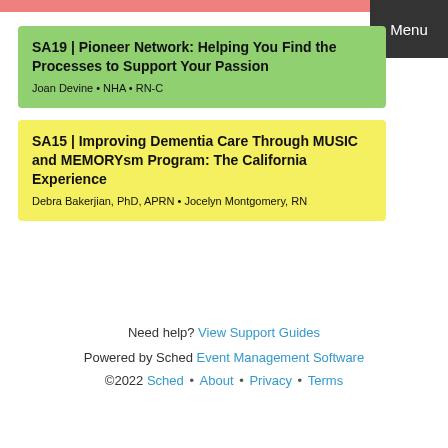Menu
SA19 | Pioneer Network: Helping You Find the Processes to Support Your Passion
Joan Devine • NHA • RN-C
SA15 | Improving Dementia Care Through MUSIC and MEMORYsm Program: The California Experience
Debra Bakerjian, PhD, APRN • Jocelyn Montgomery, RN
Need help? View Support Guides
Powered by Sched Event Management Software
©2022 Sched • About • Privacy • Terms